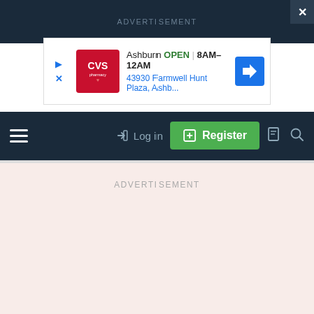ADVERTISEMENT
[Figure (screenshot): CVS Pharmacy advertisement banner showing Ashburn location OPEN 8AM-12AM at 43930 Farmwell Hunt Plaza, Ashb... with blue navigation arrow icon]
Log in
Register
ADVERTISEMENT